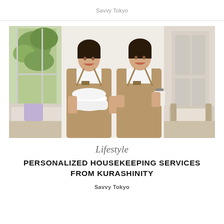Savvy Tokyo
[Figure (photo): Two smiling women in khaki aprons and white shirts posing in a bright living room. The woman on the left holds white folded towels/linens. The one on the right holds a clipboard. Background shows a couch, wooden chairs, and greenery near a window.]
Lifestyle
PERSONALIZED HOUSEKEEPING SERVICES FROM KURASHINITY
Savvy Tokyo